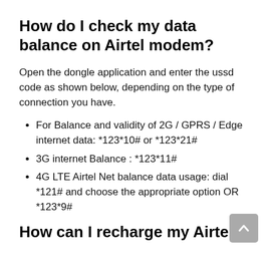How do I check my data balance on Airtel modem?
Open the dongle application and enter the ussd code as shown below, depending on the type of connection you have.
For Balance and validity of 2G / GPRS / Edge internet data: *123*10# or *123*21#
3G internet Balance : *123*11#
4G LTE Airtel Net balance data usage: dial *121# and choose the appropriate option OR *123*9#
How can I recharge my Airtel WiFi dongle?